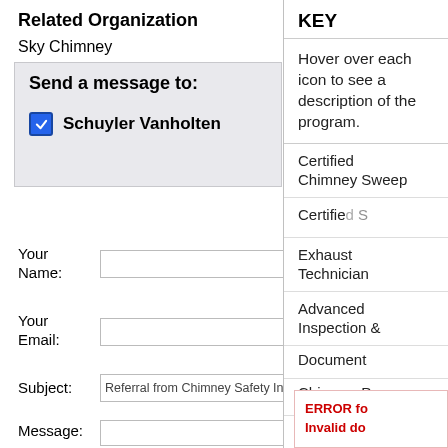Related Organization
Sky Chimney
Send a message to:
Schuyler Vanholten
Your Name:
Your Email:
Subject:
Referral from Chimney Safety Institute o
Message:
KEY
Hover over each icon to see a description of the program.
Certified Chimney Sweep
Exhaust Technician
Advanced Inspection &
Document
Chimney P
ERROR fo
Invalid do